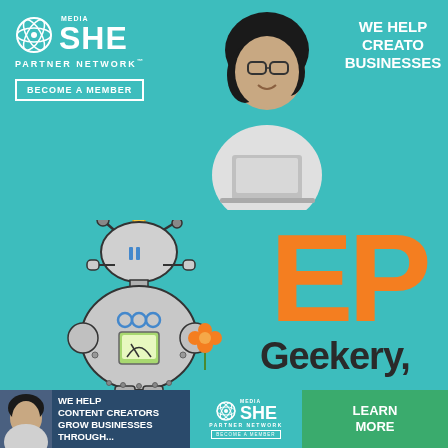[Figure (logo): SHE Media Partner Network logo with circular atom icon, white text on teal background, with BECOME A MEMBER button]
[Figure (photo): Woman with curly hair smiling, wearing glasses, working on a laptop, photo cropped at top, teal background]
WE HELP CREATORS BUSINESSES
[Figure (illustration): Robot character illustration: gray robot with round head, antennas, three blue circles on chest, gauge display on belly, small orange flower detail, on teal background]
EPP
Geekery,
Home / About / Contact /
[Figure (infographic): Bottom ad banner: dark navy background with woman photo, WE HELP CONTENT CREATORS GROW BUSINESSES THROUGH... text, SHE Media Partner Network logo on teal, LEARN MORE green button]